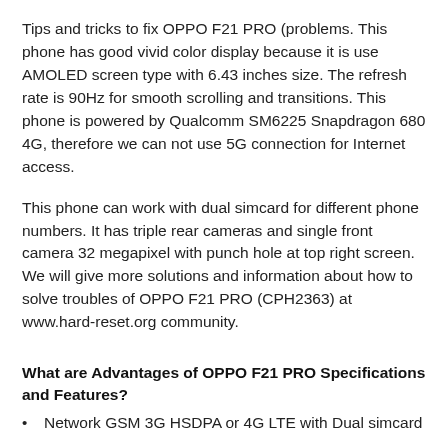Tips and tricks to fix OPPO F21 PRO (problems. This phone has good vivid color display because it is use AMOLED screen type with 6.43 inches size. The refresh rate is 90Hz for smooth scrolling and transitions. This phone is powered by Qualcomm SM6225 Snapdragon 680 4G, therefore we can not use 5G connection for Internet access.
This phone can work with dual simcard for different phone numbers. It has triple rear cameras and single front camera 32 megapixel with punch hole at top right screen. We will give more solutions and information about how to solve troubles of OPPO F21 PRO (CPH2363) at www.hard-reset.org community.
What are Advantages of OPPO F21 PRO Specifications and Features?
Network GSM 3G HSDPA or 4G LTE with Dual simcard